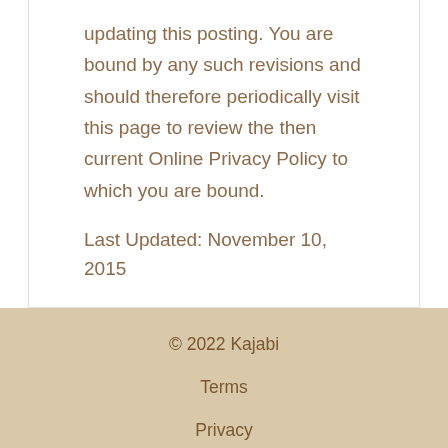updating this posting. You are bound by any such revisions and should therefore periodically visit this page to review the then current Online Privacy Policy to which you are bound.
Last Updated: November 10, 2015
© 2022 Kajabi
Terms
Privacy